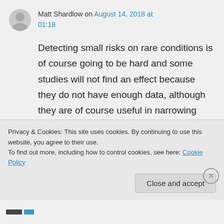Matt Shardlow on August 14, 2018 at 01:18
Detecting small risks on rare conditions is of course going to be hard and some studies will not find an effect because they do not have enough data, although they are of course useful in narrowing down the likely risk, but I am sure that you will agree that proof as such does not
Privacy & Cookies: This site uses cookies. By continuing to use this website, you agree to their use.
To find out more, including how to control cookies, see here: Cookie Policy
Close and accept